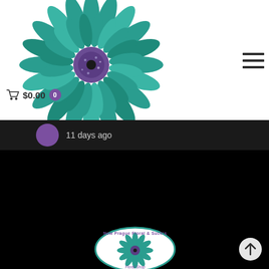[Figure (photo): Teal/turquoise gerbera daisy flower on white background]
New Prague Floral and Such (A Takovy')
[Figure (infographic): Hamburger menu icon (three horizontal lines)]
🛒 $0.00  0
11 days ago
[Figure (logo): New Prague Floral and Such oval logo with teal gerbera daisy]
[Figure (infographic): Up arrow / scroll to top button]